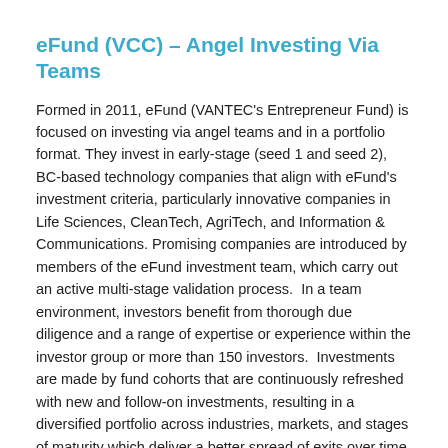eFund (VCC) – Angel Investing Via Teams
Formed in 2011, eFund (VANTEC's Entrepreneur Fund) is focused on investing via angel teams and in a portfolio format. They invest in early-stage (seed 1 and seed 2), BC-based technology companies that align with eFund's investment criteria, particularly innovative companies in Life Sciences, CleanTech, AgriTech, and Information & Communications. Promising companies are introduced by members of the eFund investment team, which carry out an active multi-stage validation process.  In a team environment, investors benefit from thorough due diligence and a range of expertise or experience within the investor group or more than 150 investors.  Investments are made by fund cohorts that are continuously refreshed with new and follow-on investments, resulting in a diversified portfolio across industries, markets, and stages of maturity which deliver a better spread of exits over time. eFund is a Venture Capital Corp (VCC) and only invests in EBC eligible businesses.
Vancouver Angel Forum